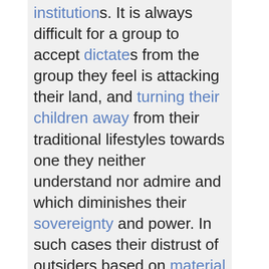institutions. It is always difficult for a group to accept dictates from the group they feel is attacking their land, and turning their children away from their traditional lifestyles towards one they neither understand nor admire and which diminishes their sovereignty and power. In such cases their distrust of outsiders based on material evidence (the loss of group property, taxation without true representation, the forcing of youth into national armies instead of allowing them to stay with their own people, lack of respect, work exploitation, etc.) makes meaningful dialogue on female...